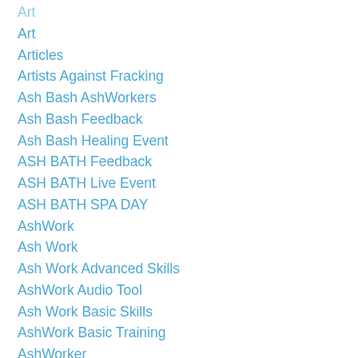Art
Articles
Artists Against Fracking
Ash Bash AshWorkers
Ash Bash Feedback
Ash Bash Healing Event
ASH BATH Feedback
ASH BATH Live Event
ASH BATH SPA DAY
AshWork
Ash Work
Ash Work Advanced Skills
AshWork Audio Tool
Ash Work Basic Skills
AshWork Basic Training
AshWorker
AshWorker Practitioners
AshWorkers
Ash Workers Training
AshWorkersTrainingHub.com